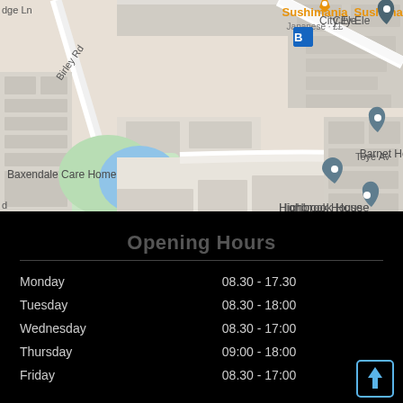[Figure (map): Google Maps showing area around Baxendale with labeled locations: Baxendale Care Home, Barnet Homes, Arka House, Highbrook House, Sushimania (Japanese restaurant), A109 road, Birley Rd, Baxendale street, Toye Avenue, and blue water feature with green park area.]
Opening Hours
| Day | Hours |
| --- | --- |
| Monday | 08.30 - 17.30 |
| Tuesday | 08.30 - 18:00 |
| Wednesday | 08.30 - 17:00 |
| Thursday | 09:00 - 18:00 |
| Friday | 08.30 - 17:00 |